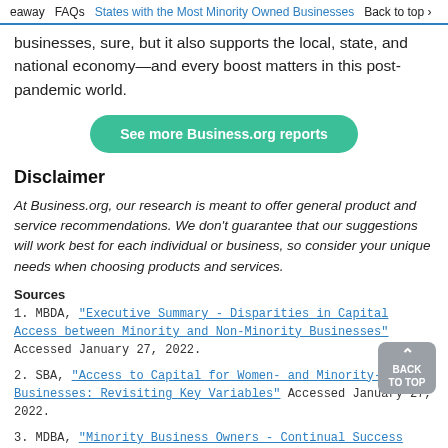eaway   FAQs   States with the Most Minority Owned Businesses   Back to top
businesses, sure, but it also supports the local, state, and national economy—and every boost matters in this post-pandemic world.
[Figure (other): Green rounded button labeled 'See more Business.org reports']
Disclaimer
At Business.org, our research is meant to offer general product and service recommendations. We don't guarantee that our suggestions will work best for each individual or business, so consider your unique needs when choosing products and services.
Sources
1. MBDA, "Executive Summary - Disparities in Capital Access between Minority and Non-Minority Businesses" Accessed January 27, 2022.
2. SBA, "Access to Capital for Women- and Minority-owned Businesses: Revisiting Key Variables" Accessed January 27, 2022.
3. MDBA, "Minority Business Owners - Continual Success with Angel Investors!" Accessed